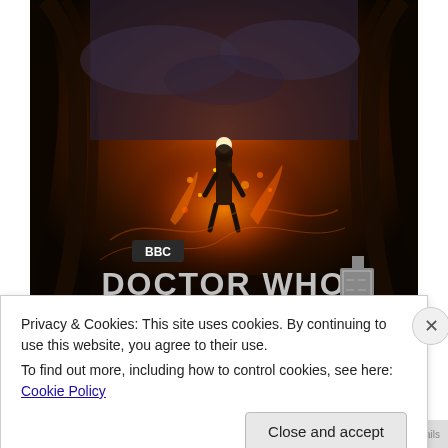[Figure (photo): Doctor Who: The Day of the Doctor promotional image. A figure stands in the center surrounded by fiery explosion and dark dramatic clouds. A large dark coat/silhouette frames the background. BBC logo and 'DOCTOR WHO' logo with TARDIS icon are displayed in the lower portion, along with text 'THE DAY OF THE DOCTOR'.]
Privacy & Cookies: This site uses cookies. By continuing to use this website, you agree to their use.
To find out more, including how to control cookies, see here: Cookie Policy